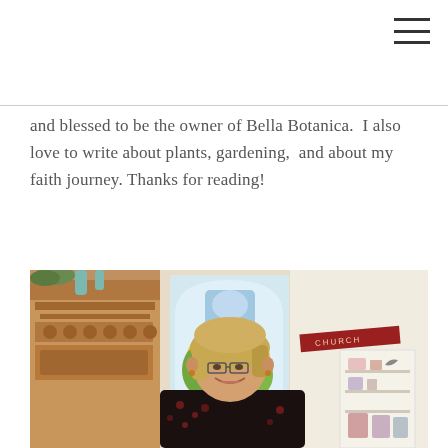and blessed to be the owner of Bella Botanica.  I also love to write about plants, gardening,  and about my faith journey. Thanks for reading!
[Figure (photo): A woman with blonde hair and glasses smiling inside a shop or converted church, with a large arched stained glass window behind her featuring yellow and orange floral motifs, decorated wooden furniture to the left, and shelving with decorative items on the right.]